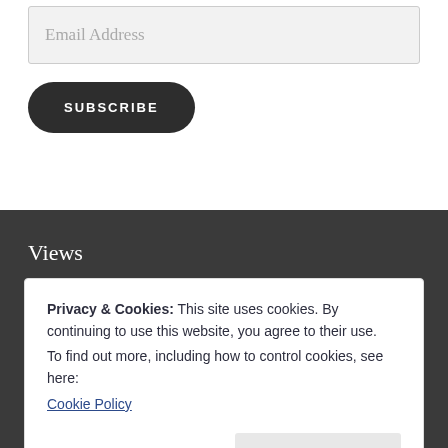Email Address
SUBSCRIBE
Views
Privacy & Cookies: This site uses cookies. By continuing to use this website, you agree to their use.
To find out more, including how to control cookies, see here:
Cookie Policy
Close and accept